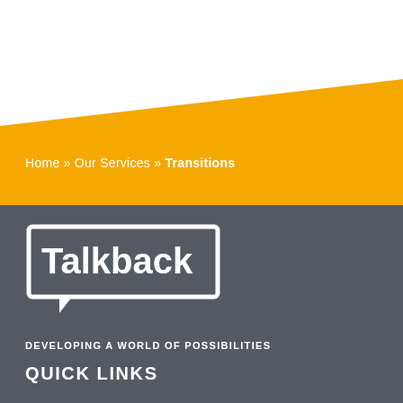Home » Our Services » Transitions
[Figure (logo): Talkback logo — white speech bubble rectangle outline containing the word 'Talkback' in bold white text, with a small triangular speech bubble pointer at bottom-left]
DEVELOPING A WORLD OF POSSIBILITIES
QUICK LINKS